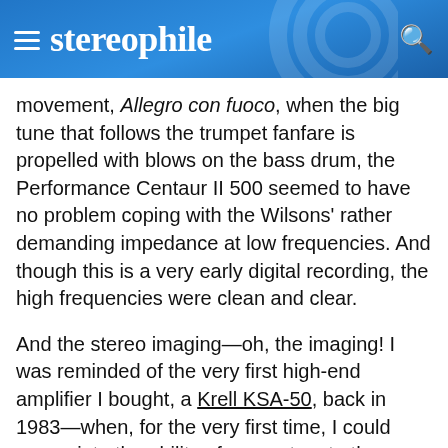stereophile
movement, Allegro con fuoco, when the big tune that follows the trumpet fanfare is propelled with blows on the bass drum, the Performance Centaur II 500 seemed to have no problem coping with the Wilsons' rather demanding impedance at low frequencies. And though this is a very early digital recording, the high frequencies were clean and clear.
And the stereo imaging—oh, the imaging! I was reminded of the very first high-end amplifier I bought, a Krell KSA-50, back in 1983—when, for the very first time, I could appreciate the ability of my system to throw a sonic picture in which acoustic objects were unambiguously and precisely